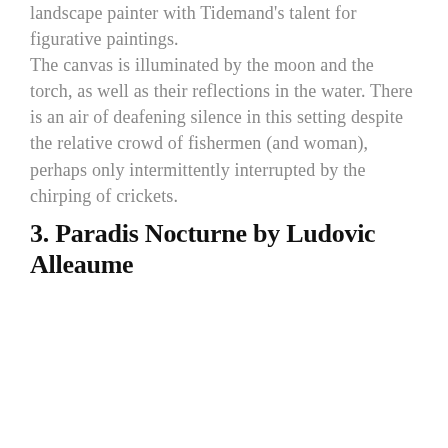landscape painter with Tidemand's talent for figurative paintings. The canvas is illuminated by the moon and the torch, as well as their reflections in the water. There is an air of deafening silence in this setting despite the relative crowd of fishermen (and woman), perhaps only intermittently interrupted by the chirping of crickets.
3. Paradis Nocturne by Ludovic Alleaume